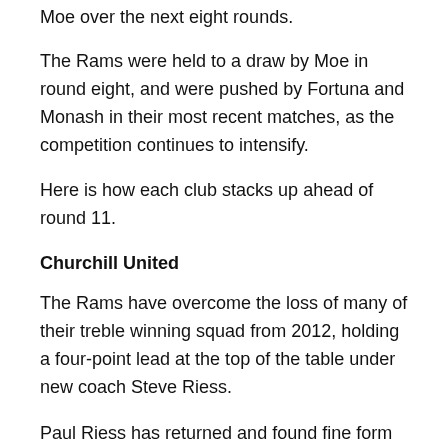Moe over the next eight rounds.
The Rams were held to a draw by Moe in round eight, and were pushed by Fortuna and Monash in their most recent matches, as the competition continues to intensify.
Here is how each club stacks up ahead of round 11.
Churchill United
The Rams have overcome the loss of many of their treble winning squad from 2012, holding a four-point lead at the top of the table under new coach Steve Riess.
Paul Riess has returned and found fine form in front of goal, contributing 12 goals already, while Matt Maselli has contributed key goals in recent weeks.